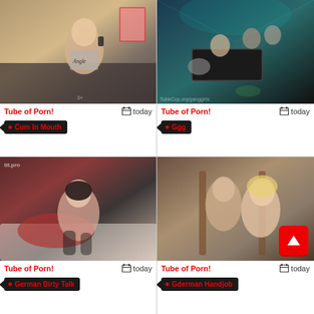[Figure (photo): Video thumbnail top-left: young blonde woman on phone]
Tube of Porn!
today
Cum In Mouth
[Figure (photo): Video thumbnail top-right: group scene in dark room]
Tube of Porn!
today
Ggg
[Figure (photo): Video thumbnail bottom-left: woman in stockings on couch]
Tube of Porn!
today
German Dirty Talk
[Figure (photo): Video thumbnail bottom-right: two people on chair]
Tube of Porn!
today
Gderman Handjob